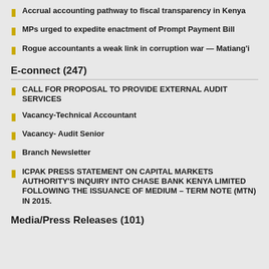Accrual accounting pathway to fiscal transparency in Kenya
MPs urged to expedite enactment of Prompt Payment Bill
Rogue accountants a weak link in corruption war — Matiang'i
E-connect (247)
CALL FOR PROPOSAL TO PROVIDE EXTERNAL AUDIT SERVICES
Vacancy-Technical Accountant
Vacancy- Audit Senior
Branch Newsletter
ICPAK PRESS STATEMENT ON CAPITAL MARKETS AUTHORITY'S INQUIRY INTO CHASE BANK KENYA LIMITED FOLLOWING THE ISSUANCE OF MEDIUM – TERM NOTE (MTN) IN 2015.
Media/Press Releases (101)